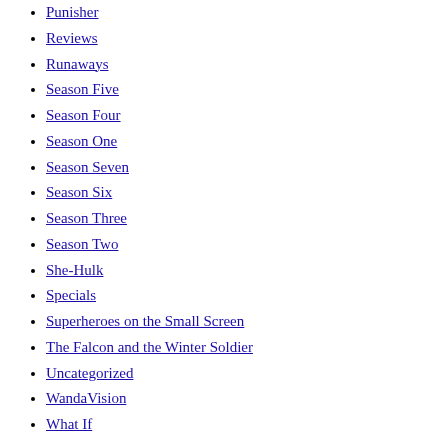Punisher
Reviews
Runaways
Season Five
Season Four
Season One
Season Seven
Season Six
Season Three
Season Two
She-Hulk
Specials
Superheroes on the Small Screen
The Falcon and the Winter Soldier
Uncategorized
WandaVision
What If
Notice
Welcome to Level Seven™ is an independently produced fan podcast and not affiliated with ABC Studios. The views of the hosts do not necessarily reflect the views of ABC Studios or the cast and crew. Screenshots and sound clips from Marvel's Agents of SHIELD © 2013–2014 ABC Studios. Welcome to Level Seven